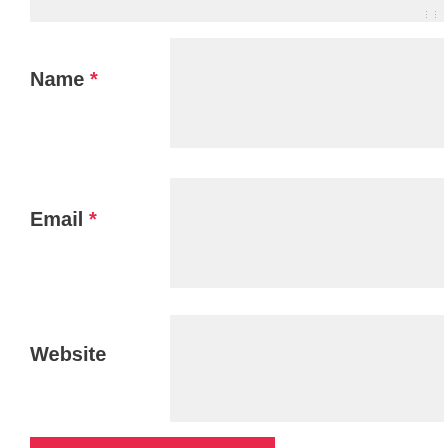[Figure (screenshot): Top portion of a textarea input field (light gray background) with a resize handle icon at bottom-right corner]
Name *
Email *
Website
POST COMMENT